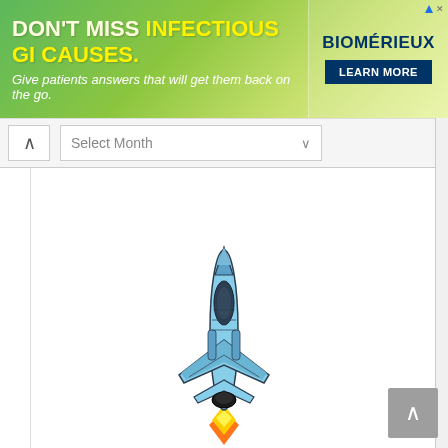[Figure (screenshot): Advertisement banner: green gradient background with text 'DON'T MISS INFECTIOUS GI CAUSES. Give patients answers that will get them back on the go.' and bioMérieux logo with 'LEARN MORE' button on the right.]
Select Month ∨
[Figure (illustration): A blue military jet fighter seen from above/front, flying upward with orange and yellow flame exhaust trail below it.]